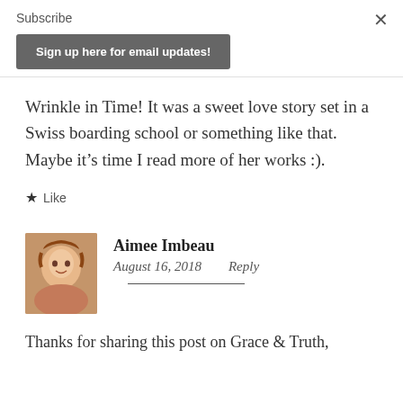Subscribe
Sign up here for email updates!
Wrinkle in Time! It was a sweet love story set in a Swiss boarding school or something like that. Maybe it's time I read more of her works :).
★ Like
[Figure (photo): Profile photo of Aimee Imbeau, a woman with reddish-brown hair smiling]
Aimee Imbeau
August 16, 2018   Reply
Thanks for sharing this post on Grace & Truth,